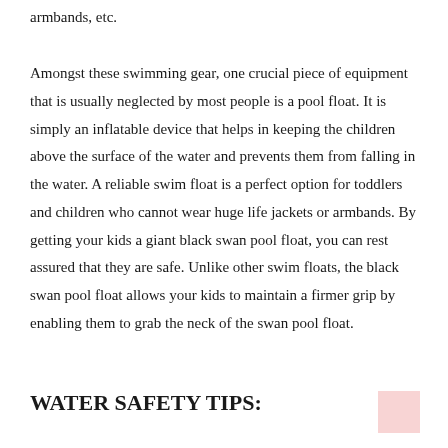armbands, etc.
Amongst these swimming gear, one crucial piece of equipment that is usually neglected by most people is a pool float. It is simply an inflatable device that helps in keeping the children above the surface of the water and prevents them from falling in the water. A reliable swim float is a perfect option for toddlers and children who cannot wear huge life jackets or armbands. By getting your kids a giant black swan pool float, you can rest assured that they are safe. Unlike other swim floats, the black swan pool float allows your kids to maintain a firmer grip by enabling them to grab the neck of the swan pool float.
WATER SAFETY TIPS: